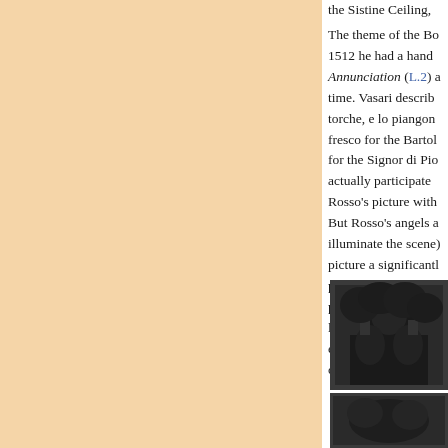the Sistine Ceiling, ...
The theme of the Bos... 1512 he had a hand i... Annunciation (L.2) a... time. Vasari describe... torche, e lo piangono... fresco for the Bartoli... for the Signor di Pio... actually participate i... Rosso's picture with... But Rosso's angels a... illuminate the scene)... picture a significantly... panel showed the wh... predella of around 15... later lost predella fig... either case, Rosso's p... only seated upright b...
[Figure (photo): Black and white photograph, partially visible, showing dark figural subject matter]
[Figure (photo): Second partial black and white photograph at bottom right]